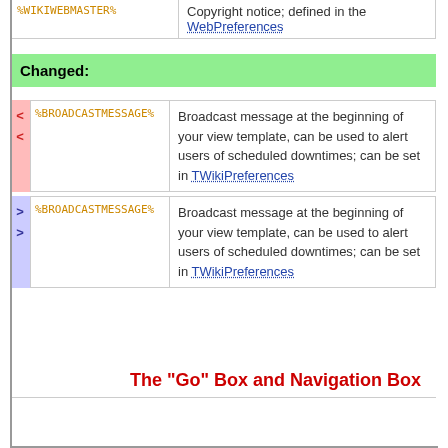| Variable | Description |
| --- | --- |
| %BROADCASTMESSAGE% | Broadcast message at the beginning of your view template, can be used to alert users of scheduled downtimes; can be set in TWikiPreferences |
| %BROADCASTMESSAGE% | Broadcast message at the beginning of your view template, can be used to alert users of scheduled downtimes; can be set in TWikiPreferences |
Changed:
The "Go" Box and Navigation Box